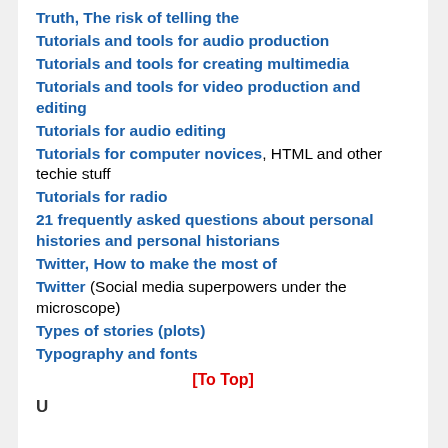Truth, The risk of telling the
Tutorials and tools for audio production
Tutorials and tools for creating multimedia
Tutorials and tools for video production and editing
Tutorials for audio editing
Tutorials for computer novices, HTML and other techie stuff
Tutorials for radio
21 frequently asked questions about personal histories and personal historians
Twitter, How to make the most of
Twitter (Social media superpowers under the microscope)
Types of stories (plots)
Typography and fonts
[To Top]
U